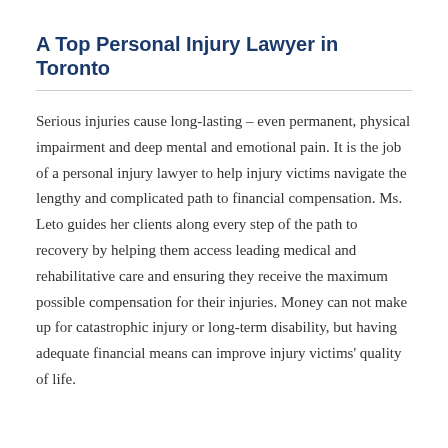A Top Personal Injury Lawyer in Toronto
Serious injuries cause long-lasting – even permanent, physical impairment and deep mental and emotional pain. It is the job of a personal injury lawyer to help injury victims navigate the lengthy and complicated path to financial compensation. Ms. Leto guides her clients along every step of the path to recovery by helping them access leading medical and rehabilitative care and ensuring they receive the maximum possible compensation for their injuries. Money can not make up for catastrophic injury or long-term disability, but having adequate financial means can improve injury victims' quality of life.